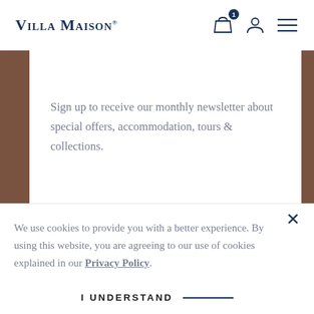Villa Maison
Sign up to receive our monthly newsletter about special offers, accommodation, tours & collections.
We use cookies to provide you with a better experience. By using this website, you are agreeing to our use of cookies explained in our Privacy Policy.
I UNDERSTAND